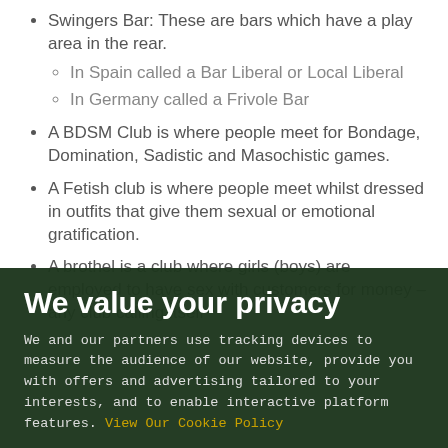Swingers Bar: These are bars which have a play area in the rear.
  - In Spain called a Bar Liberal or Local Liberal
  - In Germany called a Frivole Bar
A BDSM Club is where people meet for Bondage, Domination, Sadistic and Masochistic games.
A Fetish club is where people meet whilst dressed in outfits that give them sexual or emotional gratification.
A brothel is a club where girls (boys) are employed to have sex with customers for money – any club calling itself [visible behind overlay]
We value your privacy
We and our partners use tracking devices to measure the audience of our website, provide you with offers and advertising tailored to your interests, and to enable interactive platform features. View Our Cookie Policy
YES, I AGREE
If you do not agree, please discontinue use of the site